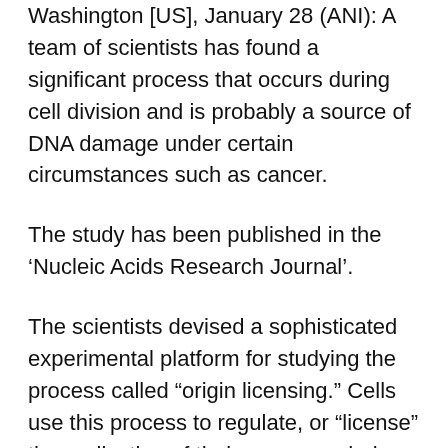Washington [US], January 28 (ANI): A team of scientists has found a significant process that occurs during cell division and is probably a source of DNA damage under certain circumstances such as cancer.
The study has been published in the 'Nucleic Acids Research Journal'.
The scientists devised a sophisticated experimental platform for studying the process called “origin licensing.” Cells use this process to regulate, or “license” the replication of their genomes during cell division.
The researchers revealed for the first time the dynamics of this process. They showed in particular how these dynamics differ — and bring different risks of DNA damage during replication — in the two basic states of genomic DNA, the “euchromatin” state which is relatively loose and open for